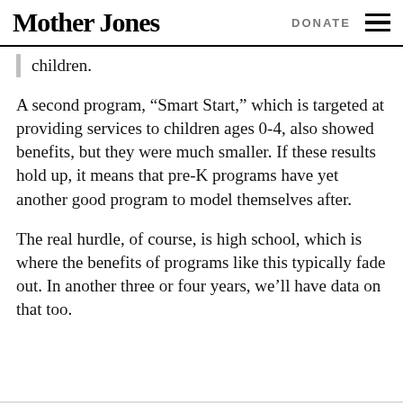Mother Jones | DONATE
children.
A second program, “Smart Start,” which is targeted at providing services to children ages 0-4, also showed benefits, but they were much smaller. If these results hold up, it means that pre-K programs have yet another good program to model themselves after.
The real hurdle, of course, is high school, which is where the benefits of programs like this typically fade out. In another three or four years, we’ll have data on that too.